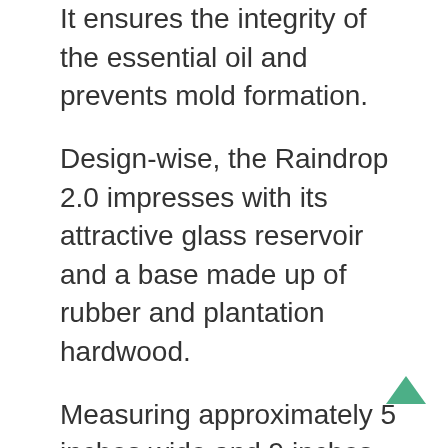It ensures the integrity of the essential oil and prevents mold formation.
Design-wise, the Raindrop 2.0 impresses with its attractive glass reservoir and a base made up of rubber and plantation hardwood.
Measuring approximately 5 inches wide and 9 inches tall, this diffuser works best with most essential oils, except thicker varieties (especially those extracted from tree resin), synthetic fragrance oils, as well as carrier oils such as coconut, jojoba, grapeseed, etc.
It has everything we’re looking for in an ideal essential oil diffuser. It consumes up to 20 drops of essential oil per hour, but this amount can vary depending on how long or strong you want the diffuser to run.